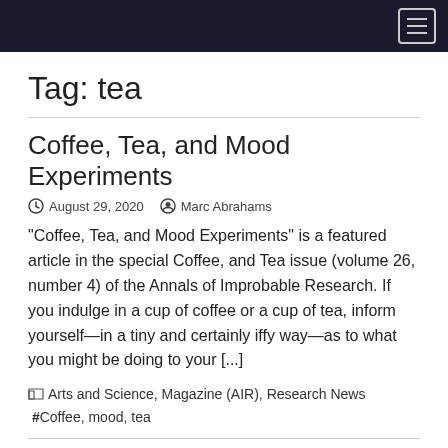Navigation bar with menu icon
Tag: tea
Coffee, Tea, and Mood Experiments
August 29, 2020  Marc Abrahams
“Coffee, Tea, and Mood Experiments” is a featured article in the special Coffee, and Tea issue (volume 26, number 4) of the Annals of Improbable Research. If you indulge in a cup of coffee or a cup of tea, inform yourself—in a tiny and certainly iffy way—as to what you might be doing to your [...]
Arts and Science, Magazine (AIR), Research News  #Coffee, mood, tea
Prize-winning British specification: Th